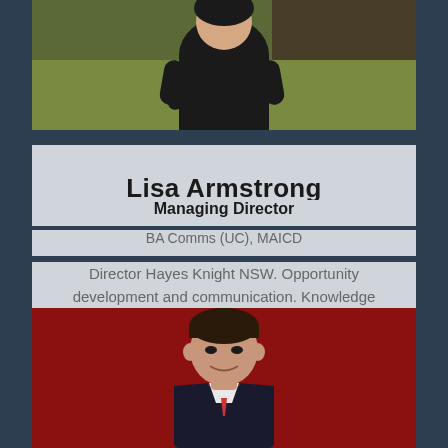[Figure (photo): Professional photo of a woman in dark clothing seated on a green patterned couch/chair, visible from approximately mid-torso up]
Lisa Armstrong
Managing Director
BA Comms (UC), MAICD
Director Hayes Knight NSW. Opportunity development and communication. Knowledge management. Strategy and growth.
[Figure (photo): Professional headshot of a man in a dark suit with white shirt, smiling, against a dark red/maroon background]